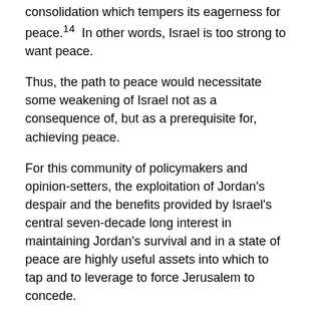consolidation which tempers its eagerness for peace.14  In other words, Israel is too strong to want peace.
Thus, the path to peace would necessitate some weakening of Israel not as a consequence of, but as a prerequisite for, achieving peace.
For this community of policymakers and opinion-setters, the exploitation of Jordan's despair and the benefits provided by Israel's central seven-decade long interest in maintaining Jordan's survival and in a state of peace are highly useful assets into which to tap and to leverage to force Jerusalem to concede.
As such, the answer of this latter crowd is to demand rather than suggest Israel's indulgence of Jordan's hostility, as well as to cede sovereignty in part or in whole.  In fact, Jordan's hostility ultimately is understood as being a result of Israel's failure to have sovereignty in part or some of its...